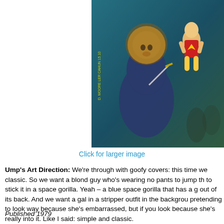[Figure (illustration): Comic book style cover artwork showing a lion-headed humanoid creature (blue space gorilla), a blond man in red costume jumping, and other figures on a painted cover background]
Click for larger image
Ump's Art Direction: We're through with goofy covers: this time we want something simple and classic. So we want a blond guy who's wearing no pants to jump through the air holding a sword to stick it in a space gorilla. Yeah – a blue space gorilla that has a gorilla head and a lion head out of its back. And we want a gal in a stripper outfit in the background, looking the other way, pretending to look way because she's embarrassed, but if you look close you can tell it's actually because she's really into it. Like I said: simple and classic.
Published 1979